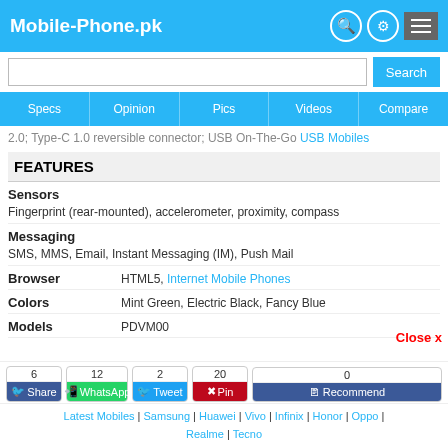Mobile-Phone.pk
2.0; Type-C 1.0 reversible connector; USB On-The-Go USB Mobiles
FEATURES
| Field | Value |
| --- | --- |
| Sensors | Fingerprint (rear-mounted), accelerometer, proximity, compass |
| Messaging | SMS, MMS, Email, Instant Messaging (IM), Push Mail |
| Browser | HTML5, Internet Mobile Phones |
| Colors | Mint Green, Electric Black, Fancy Blue |
| Models | PDVM00 |
Latest Mobiles | Samsung | Huawei | Vivo | Infinix | Honor | Oppo | Realme | Tecno